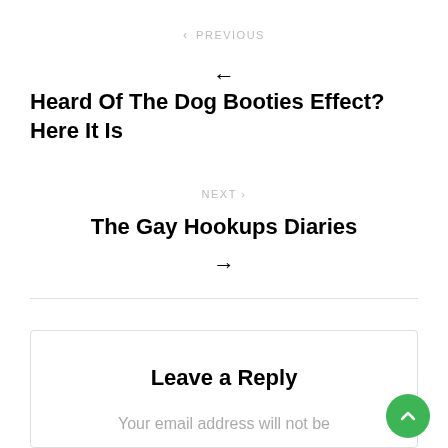< PREVIOUS
←
Heard Of The Dog Booties Effect? Here It Is
NEXT >
The Gay Hookups Diaries
→
Leave a Reply
Your email address will not be